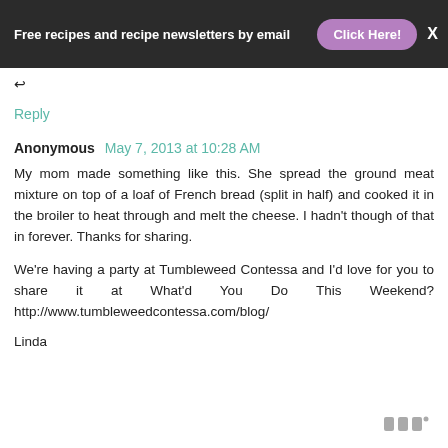Free recipes and recipe newsletters by email  Click Here!  X
Reply
Anonymous  May 7, 2013 at 10:28 AM
My mom made something like this. She spread the ground meat mixture on top of a loaf of French bread (split in half) and cooked it in the broiler to heat through and melt the cheese. I hadn't though of that in forever. Thanks for sharing.
We're having a party at Tumbleweed Contessa and I'd love for you to share it at What'd You Do This Weekend? http://www.tumbleweedcontessa.com/blog/
Linda
[Figure (logo): Small watermark logo at bottom right]